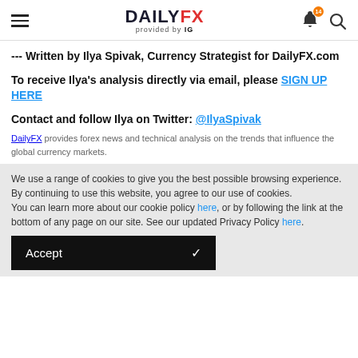DAILYFX provided by IG
--- Written by Ilya Spivak, Currency Strategist for DailyFX.com
To receive Ilya's analysis directly via email, please SIGN UP HERE
Contact and follow Ilya on Twitter: @IlyaSpivak
DailyFX provides forex news and technical analysis on the trends that influence the global currency markets.
We use a range of cookies to give you the best possible browsing experience. By continuing to use this website, you agree to our use of cookies. You can learn more about our cookie policy here, or by following the link at the bottom of any page on our site. See our updated Privacy Policy here.
Accept